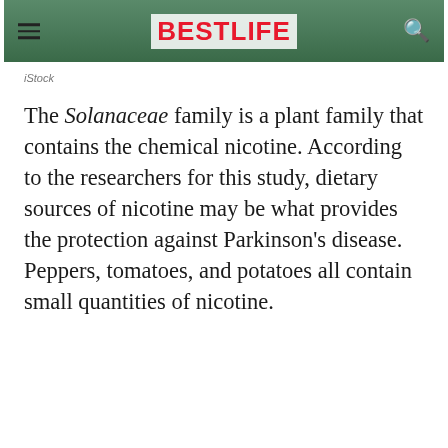[Figure (photo): Cropped top portion of a photo showing green plant foliage, likely from the Solanaceae family]
iStock
The Solanaceae family is a plant family that contains the chemical nicotine. According to the researchers for this study, dietary sources of nicotine may be what provides the protection against Parkinson's disease. Peppers, tomatoes, and potatoes all contain small quantities of nicotine.